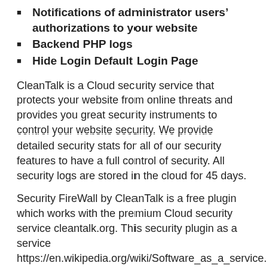Notifications of administrator users authorizations to your website
Backend PHP logs
Hide Login Default Login Page
CleanTalk is a Cloud security service that protects your website from online threats and provides you great security instruments to control your website security. We provide detailed security stats for all of our security features to have a full control of security. All security logs are stored in the cloud for 45 days.
Security FireWall by CleanTalk is a free plugin which works with the premium Cloud security service cleantalk.org. This security plugin as a service https://en.wikipedia.org/wiki/Software_as_a_service.
Malware always becomes a headache for site owners. If you don't regularly check for malware, it